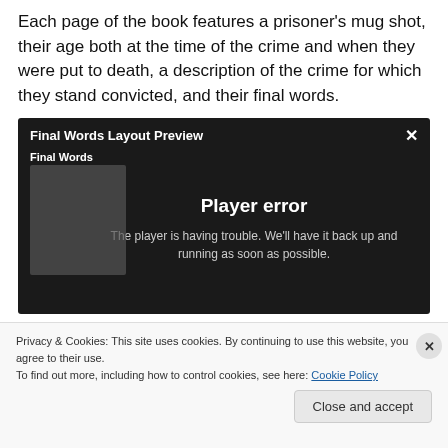Each page of the book features a prisoner's mug shot, their age both at the time of the crime and when they were put to death, a description of the crime for which they stand convicted, and their final words.
[Figure (screenshot): Embedded video player widget showing 'Final Words Layout Preview' with a player error message: 'Player error — The player is having trouble. We'll have it back up and running as soon as possible.' A thumbnail of a book is partially visible on the left.]
Privacy & Cookies: This site uses cookies. By continuing to use this website, you agree to their use.
To find out more, including how to control cookies, see here: Cookie Policy
Close and accept